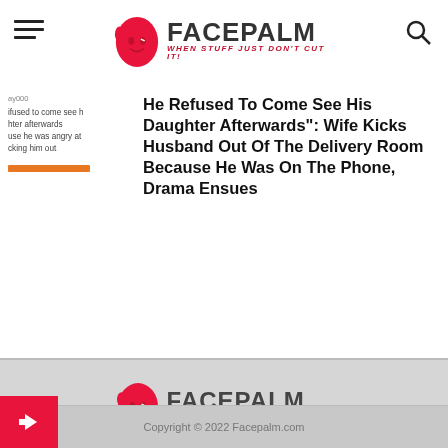[Figure (logo): Facepalm logo with red hand/face icon and text FACEPALM WHEN STUFF JUST DON'T CUT IT in header]
ay000
ifused to come see h
hter afterwards
use he was angry at
cking him out
He Refused To Come See His Daughter Afterwards": Wife Kicks Husband Out Of The Delivery Room Because He Was On The Phone, Drama Ensues
[Figure (logo): Facepalm logo centered in footer gray area - red hand/face icon with FACEPALM WHEN STUFF JUST DON'T CUT IT text]
Copyright © 2022 Facepalm.com